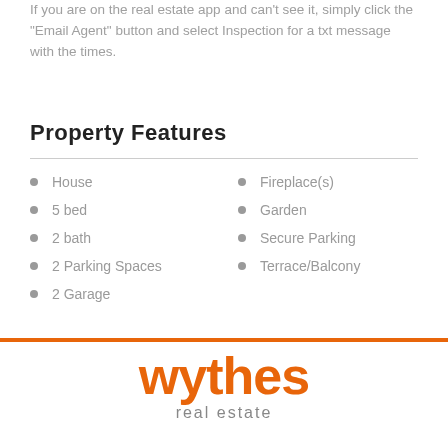If you are on the real estate app and can't see it, simply click the "Email Agent" button and select Inspection for a txt message with the times.
Property Features
House
5 bed
2 bath
2 Parking Spaces
2 Garage
Fireplace(s)
Garden
Secure Parking
Terrace/Balcony
[Figure (logo): Wythes Real Estate logo in orange text]